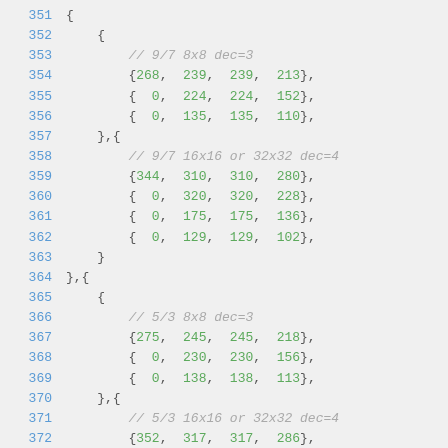Source code / data array showing quantization table values with line numbers 351-375
351     {
352         {
353             // 9/7 8x8 dec=3
354             {268, 239, 239, 213},
355             {  0, 224, 224, 152},
356             {  0, 135, 135, 110},
357         },{
358             // 9/7 16x16 or 32x32 dec=4
359             {344, 310, 310, 280},
360             {  0, 320, 320, 228},
361             {  0, 175, 175, 136},
362             {  0, 129, 129, 102},
363         }
364     },{
365         {
366             // 5/3 8x8 dec=3
367             {275, 245, 245, 218},
368             {  0, 230, 230, 156},
369             {  0, 138, 138, 113},
370         },{
371             // 5/3 16x16 or 32x32 dec=4
372             {352, 317, 317, 286},
373             {  0, 328, 328, 233},
374             {  0, 180, 180, 140},
375             {  0, 132, 132, 105},